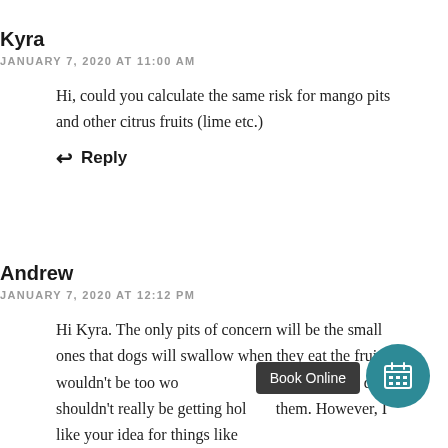Kyra
JANUARY 7, 2020 AT 11:00 AM
Hi, could you calculate the same risk for mango pits and other citrus fruits (lime etc.)
↩ Reply
Andrew
JANUARY 7, 2020 AT 12:12 PM
Hi Kyra. The only pits of concern will be the small ones that dogs will swallow when they eat the fruit – I wouldn't be too worried about mango pits as dogs shouldn't really be getting hold of them. However, I like your idea for things like